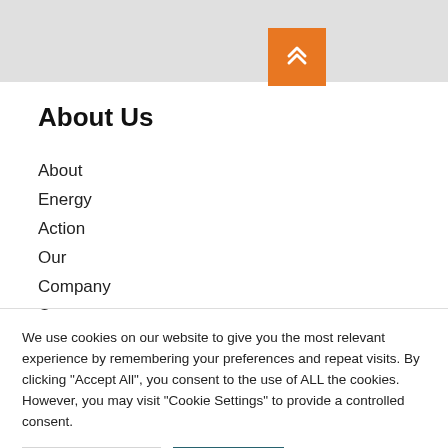[Figure (other): Gray top bar with orange scroll-to-top button featuring double chevron up arrows]
About Us
About
Energy
Action
Our
Company
Our
We use cookies on our website to give you the most relevant experience by remembering your preferences and repeat visits. By clicking “Accept All”, you consent to the use of ALL the cookies. However, you may visit “Cookie Settings” to provide a controlled consent.